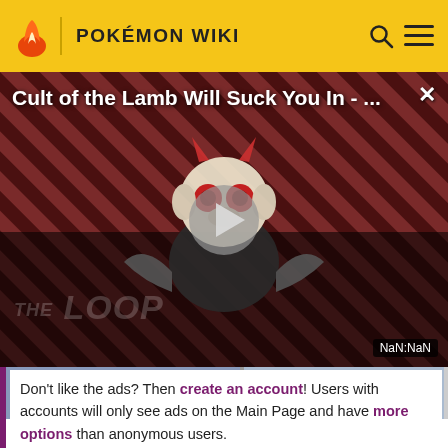POKÉMON WIKI
[Figure (screenshot): Video player showing 'Cult of the Lamb Will Suck You In - ...' with play button, THE LOOP watermark, and NaN:NaN timestamp on a dark red striped background with illustrated character]
[Figure (photo): Thumbnail strip showing two anime-style Pokémon character illustrations side by side]
Don't like the ads? Then create an account! Users with accounts will only see ads on the Main Page and have more options than anonymous users.